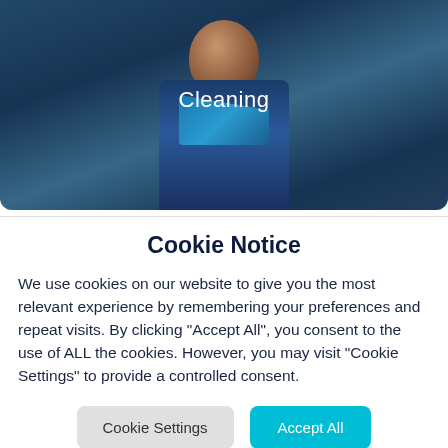[Figure (photo): A smiling woman wearing a dark navy and teal Noonan uniform/scrubs, standing in what appears to be a workplace environment. The word 'Cleaning' is overlaid in white text in the upper-center of the image.]
Cookie Notice
We use cookies on our website to give you the most relevant experience by remembering your preferences and repeat visits. By clicking “Accept All”, you consent to the use of ALL the cookies. However, you may visit “Cookie Settings” to provide a controlled consent.
Cookie Settings | Accept All